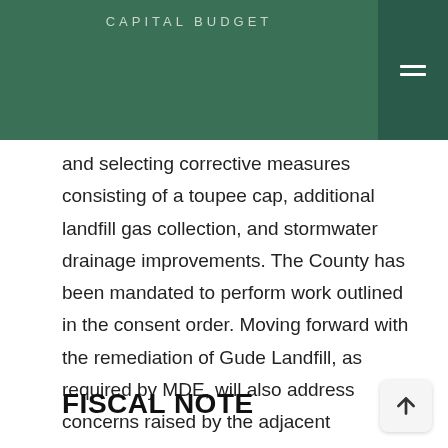CAPITAL BUDGET
and selecting corrective measures consisting of a toupee cap, additional landfill gas collection, and stormwater drainage improvements. The County has been mandated to perform work outlined in the consent order. Moving forward with the remediation of Gude Landfill, as required by MDE, will also address concerns raised by the adjacent community and allow planning for future reuses of the property.
FISCAL NOTE